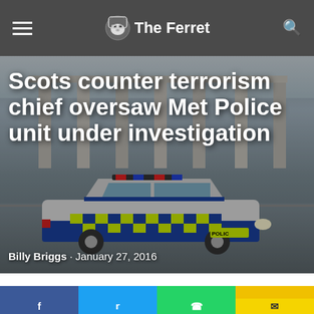The Ferret
[Figure (photo): Police car (BMW in blue and yellow checkered livery, marked POLICE) parked on a street in front of a neoclassical building with large columns, city street scene]
Scots counter terrorism chief oversaw Met Police unit under investigation
Billy Briggs · January 27, 2016